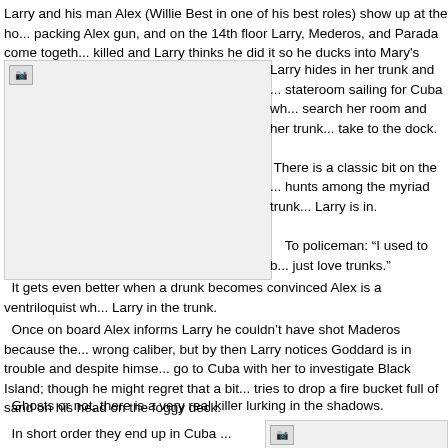Larry and his man Alex (Willie Best in one of his best roles) show up at the ho... packing Alex gun, and on the 14th floor Larry, Mederos, and Parada come togeth... killed and Larry thinks he did it so he ducks into Mary's room and she takes pity ...
[Figure (photo): Placeholder image with broken image icon, large rectangular area on left side]
Larry hides in her trunk and ... stateroom sailing for Cuba wh... search her room and her trunk... take to the dock.

There is a classic bit on the ... hunts among the myriad trunk... Larry is in.

To policeman: “I used to b... just love trunks.”
It gets even better when a drunk becomes convinced Alex is a ventriloquist wh... Larry in the trunk.
Once on board Alex informs Larry he couldn’t have shot Maderos because the... wrong caliber, but by then Larry notices Goddard is in trouble and despite himse... go to Cuba with her to investigate Black Island; though he might regret that a bit... tries to drop a fire bucket full of sand on his head on the foggy deck.
Ghosts or not, there is a very real killer lurking in the shadows.
In short order they end up in Cuba...
[Figure (photo): Placeholder image with broken image icon, bottom right area]